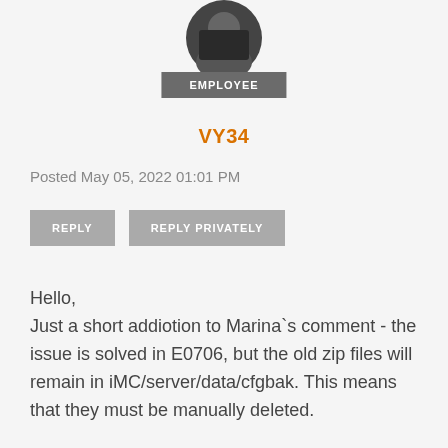[Figure (photo): Circular avatar photo of a person wearing a dark shirt, partially visible at top of page]
EMPLOYEE
VY34
Posted May 05, 2022 01:01 PM
REPLY
REPLY PRIVATELY
Hello,
Just a short addiotion to Marina`s comment - the issue is solved in E0706, but the old zip files will remain in iMC/server/data/cfgbak. This means that they must be manually deleted.

Regards,